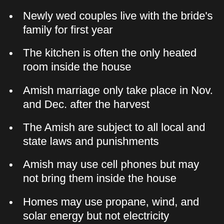Newly wed couples live with the bride's family for first year
The kitchen is often the only heated room inside the house
Amish marriage only take place in Nov. and Dec. after the harvest
The Amish are subject to all local and state laws and punishments
Amish may use cell phones but may not bring them inside the house
Homes may use propane, wind, and solar energy but not electricity
Upon death all headstones are the same height to symbolize equality
The Church Alms Fund helps families with outstanding medical bills